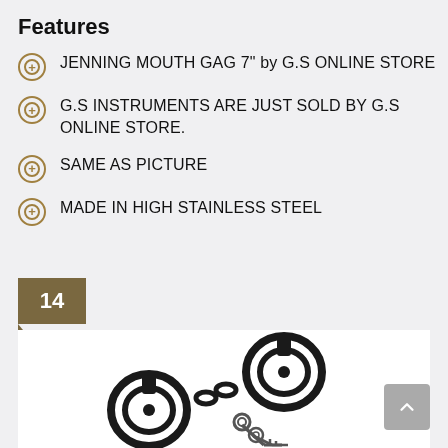Features
JENNING MOUTH GAG 7" by G.S ONLINE STORE
G.S INSTRUMENTS ARE JUST SOLD BY G.S ONLINE STORE.
SAME AS PICTURE
MADE IN HIGH STAINLESS STEEL
14
[Figure (photo): Black steel handcuffs with two keys shown on white background]